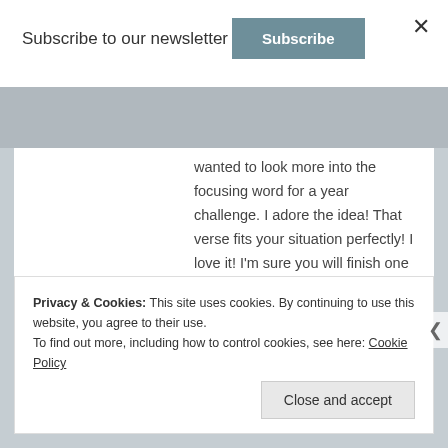Subscribe to our newsletter
Subscribe
wanted to look more into the focusing word for a year challenge. I adore the idea! That verse fits your situation perfectly! I love it! I’m sure you will finish one of your manuscripts now that you have more time on your hands. 🙂 I will be praying for you!
★ Like
Privacy & Cookies: This site uses cookies. By continuing to use this website, you agree to their use. To find out more, including how to control cookies, see here: Cookie Policy
Close and accept